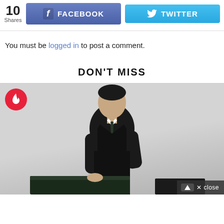10 Shares
FACEBOOK
TWITTER
You must be logged in to post a comment.
DON'T MISS
[Figure (photo): Young man in black suit with tie standing in front of dark equipment against grey background, with a red flame badge icon in top-left corner and a close button in bottom-right corner.]